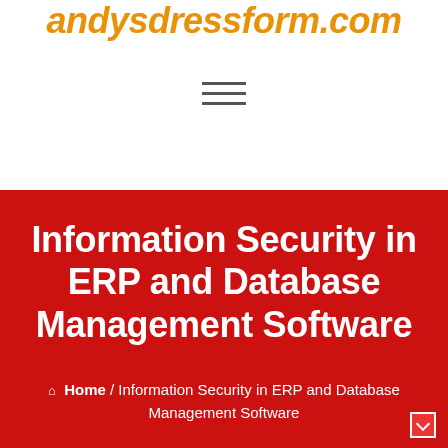andysdressform.com
[Figure (other): Hamburger menu icon with three horizontal lines]
Information Security in ERP and Database Management Software
⌂ Home / Information Security in ERP and Database Management Software